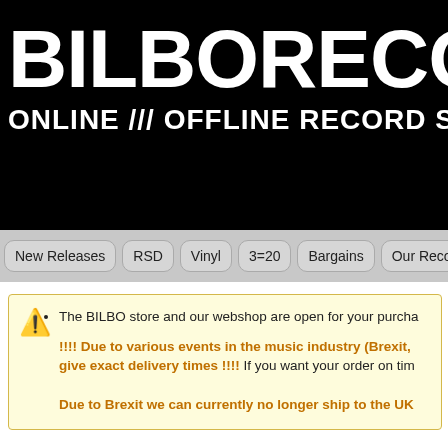BILBORECOR
ONLINE /// OFFLINE RECORD S
New Releases | RSD | Vinyl | 3=20 | Bargains | Our Recomm
The BILBO store and our webshop are open for your purcha
!!!! Due to various events in the music industry (Brexit, give exact delivery times !!!! If you want your order on tim
Due to Brexit we can currently no longer ship to the UK